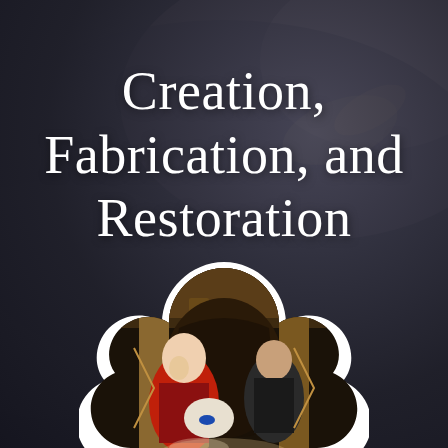[Figure (photo): Dark blurred background showing hands working at a desk or crafting surface, with dramatic low-key lighting. Serves as the full-page background image.]
Creation, Fabrication, and Restoration
[Figure (photo): A trefoil/cloud-shaped cutout image (white border) showing two people working on an ornate stained glass or decorative restoration project inside a grand interior space with elaborate columns. One figure wears red and black, the other is examining the work closely.]